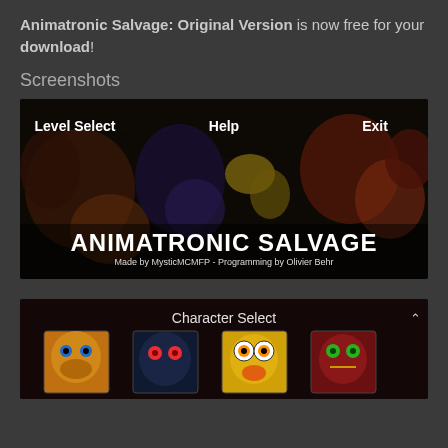Animatronic Salvage: Original Version is now free for your download!
Screenshots
[Figure (screenshot): Game title screen for Animatronic Salvage showing menu options: Level Select, Help, Exit. Dismembered animatronic parts visible in background. Large title text 'ANIMATRONIC SALVAGE' and subtitle 'Made by MysticMCMFP - Programming by Olivier Behr']
[Figure (screenshot): Character Select screen showing four character thumbnail portraits at the bottom, with a scroll arrow in the upper right corner]